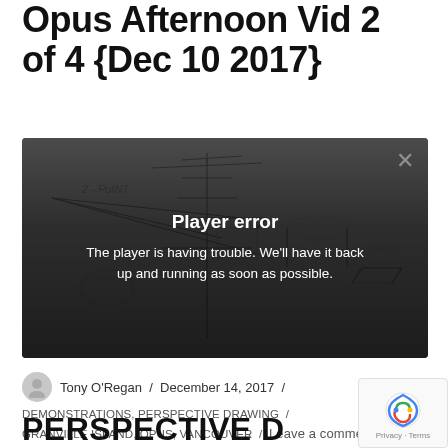Opus Afternoon Vid 2 of 4 {Dec 10 2017}
[Figure (screenshot): Video player showing a sketch drawing of perspective objects (buildings, cylinders, boxes labeled '2-POINT'), with a 'Player error' overlay message reading: 'Player error. The player is having trouble. We'll have it back up and running as soon as possible.' A close button (×) appears top right.]
Tony O'Regan / December 14, 2017 / DEMONSTRATIONS, PERSPECTIVE DRAWING / Granville Island, Opus, Vancouver / Leave a comment
PERSPECTIVE D